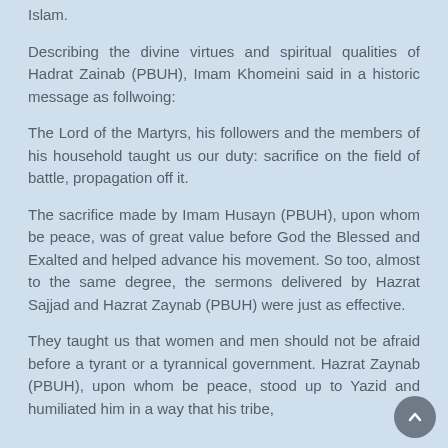Islam.
Describing the divine virtues and spiritual qualities of Hadrat Zainab (PBUH), Imam Khomeini said in a historic message as follwoing:
The Lord of the Martyrs, his followers and the members of his household taught us our duty: sacrifice on the field of battle, propagation off it.
The sacrifice made by Imam Husayn (PBUH), upon whom be peace, was of great value before God the Blessed and Exalted and helped advance his movement. So too, almost to the same degree, the sermons delivered by Hazrat Sajjad and Hazrat Zaynab (PBUH) were just as effective.
They taught us that women and men should not be afraid before a tyrant or a tyrannical government. Hazrat Zaynab (PBUH), upon whom be peace, stood up to Yazid and humiliated him in a way that his tribe,